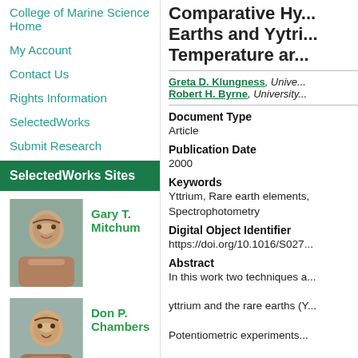College of Marine Science Home
My Account
Contact Us
Rights Information
SelectedWorks
Submit Research
SelectedWorks Sites
Gary T. Mitchum
[Figure (photo): Headshot of Gary T. Mitchum]
Don P. Chambers
[Figure (photo): Headshot of Don P. Chambers]
Comparative Hy... Earths and Yytri... Temperature ar...
Greta D. Klungness, Unive... Robert H. Byrne, University...
Document Type
Article
Publication Date
2000
Keywords
Yttrium, Rare earth elements, Spectrophotometry
Digital Object Identifier
https://doi.org/10.1016/S027...
Abstract
In this work two techniques a...
yttrium and the rare earths (Y...
Potentiometric experiments...